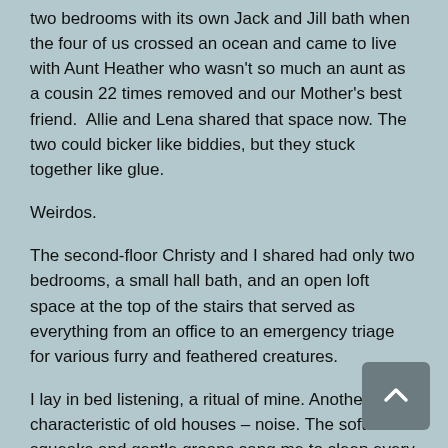two bedrooms with its own Jack and Jill bath when the four of us crossed an ocean and came to live with Aunt Heather who wasn't so much an aunt as a cousin 22 times removed and our Mother's best friend.  Allie and Lena shared that space now. The two could bicker like biddies, but they stuck together like glue.
Weirdos.
The second-floor Christy and I shared had only two bedrooms, a small hall bath, and an open loft space at the top of the stairs that served as everything from an office to an emergency triage for various furry and feathered creatures.
I lay in bed listening, a ritual of mine. Another characteristic of old houses – noise. The soft squeaks and gentle groans sang me to sleep every night of my childhood. I knew them well. The narrow hallways creaking. The water running through groaning pipes. Allie's click of heel on wood floors, the whine of the door leading to the attic and the creaking floors over my head. The sounds of home and family. I drifted off to the familiar rhythm.
Then the screaming started.